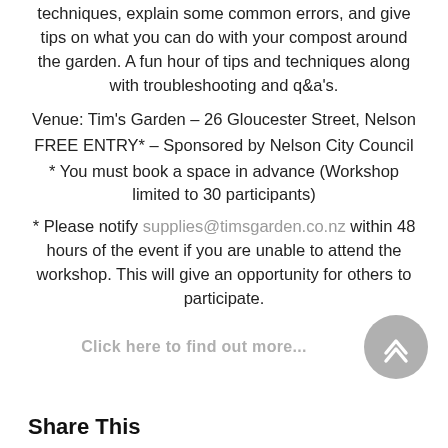techniques, explain some common errors, and give tips on what you can do with your compost around the garden. A fun hour of tips and techniques along with troubleshooting and q&a's.
Venue: Tim's Garden – 26 Gloucester Street, Nelson
FREE ENTRY* – Sponsored by Nelson City Council
* You must book a space in advance (Workshop limited to 30 participants)
* Please notify supplies@timsgarden.co.nz within 48 hours of the event if you are unable to attend the workshop. This will give an opportunity for others to participate.
Click here to find out more...
Share This